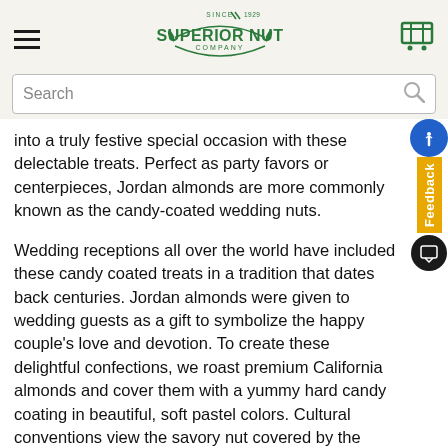Superior Nut Company — Since 1929
into a truly festive special occasion with these delectable treats. Perfect as party favors or centerpieces, Jordan almonds are more commonly known as the candy-coated wedding nuts.
Wedding receptions all over the world have included these candy coated treats in a tradition that dates back centuries. Jordan almonds were given to wedding guests as a gift to symbolize the happy couple's love and devotion. To create these delightful confections, we roast premium California almonds and cover them with a yummy hard candy coating in beautiful, soft pastel colors. Cultural conventions view the savory nut covered by the sweet candy coating as taking the bitter with the sweet and the perfect recipe for marital bliss. At weddings, Jordan almonds are often given out in odd numbers since they c[Need Help?]t evenly in two, symbolizing the inseparable bond of unity and togetherness for the happy couple.